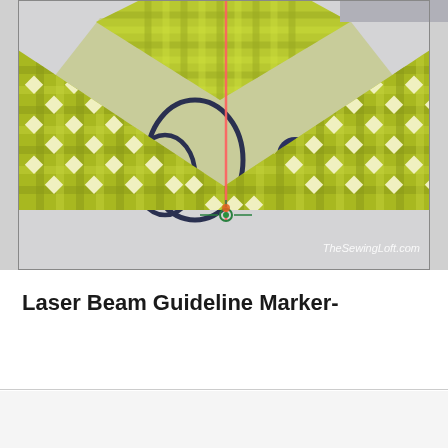[Figure (photo): A sewing machine with yellow-green gingham fabric pieces arranged in an hourglass/bowtie quilt pattern on the machine bed. A pink/red laser beam guideline is visible as a vertical line on the fabric. The image has a watermark reading 'TheSewingLoft.com'.]
Laser Beam Guideline Marker-